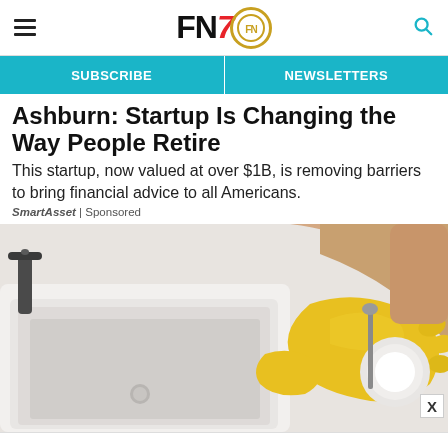FN7 [logo]
Ashburn: Startup Is Changing the Way People Retire
This startup, now valued at over $1B, is removing barriers to bring financial advice to all Americans.
SmartAsset | Sponsored
[Figure (photo): Person wearing yellow rubber gloves washing a dish at a white farmhouse sink, with lemon slices nearby]
WWD AND FN PRESENT FIXING_FIT A SPECIAL REPORT DOWNLOAD THE REPORT